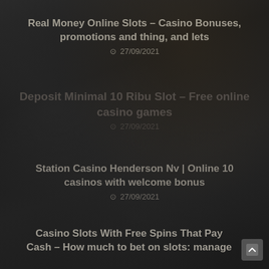Real Money Online Slots – Casino Bonuses, promotions and thing, and lets
27/09/2021
Deposit Minimal 10 Ribu Slot – Free online casino games
27/09/2021
Station Casino Henderson Nv | Online 10 casinos with welcome bonus
27/09/2021
Casino Slots With Free Spins That Pay Cash – How much to bet on slots: manage